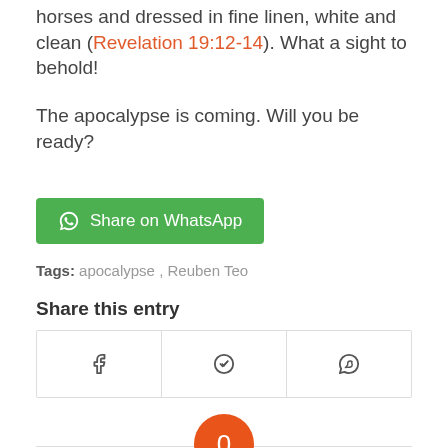horses and dressed in fine linen, white and clean (Revelation 19:12-14). What a sight to behold!
The apocalypse is coming. Will you be ready?
[Figure (other): Green Share on WhatsApp button with WhatsApp logo icon]
Tags: apocalypse, Reuben Teo
Share this entry
[Figure (other): Share icons grid with Facebook, Telegram, and WhatsApp icons in bordered cells]
0 REPLIES